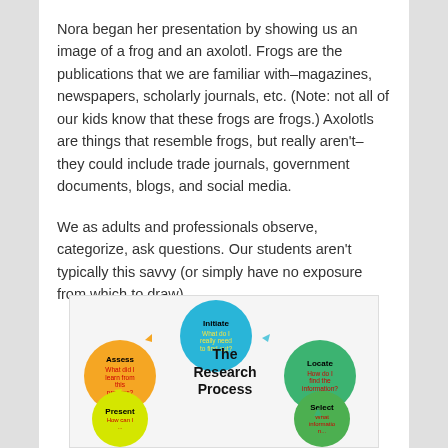Nora began her presentation by showing us an image of a frog and an axolotl. Frogs are the publications that we are familiar with–magazines, newspapers, scholarly journals, etc. (Note: not all of our kids know that these frogs are frogs.) Axolotls are things that resemble frogs, but really aren't–they could include trade journals, government documents, blogs, and social media.
We as adults and professionals observe, categorize, ask questions. Our students aren't typically this savvy (or simply have no exposure from which to draw).
[Figure (infographic): A circular infographic titled 'The Research Process' showing interconnected colored circles: Initiate (blue, 'What do I really need to find out?'), Locate (green-teal, 'How do I find the information?'), Select (green, 'What information...'), Present (yellow, 'How can I...'), Assess (orange, 'What did I learn from this process?'), with arrows between them.]